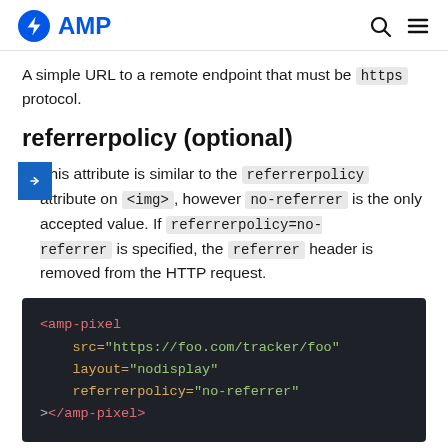AMP
A simple URL to a remote endpoint that must be https protocol.
referrerpolicy (optional)
This attribute is similar to the referrerpolicy attribute on <img>, however no-referrer is the only accepted value. If referrerpolicy=no-referrer is specified, the referrer header is removed from the HTTP request.
[Figure (screenshot): Code block showing AMP pixel example with referrerpolicy attribute]